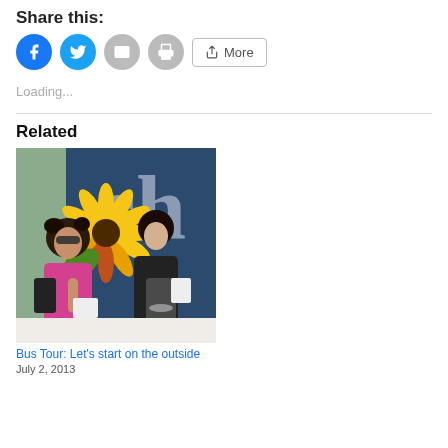Share this:
[Figure (other): Social share buttons: Facebook (blue circle), Twitter (blue circle), Email (grey circle), Print (grey circle), More button]
Loading...
Related
[Figure (photo): Two women standing outside a storefront with a colorful flower mural and text 'ch' visible on the window. One woman has curly hair, sunglasses, and a floral dress holding papers; the other is in a dark halter top holding a bag and papers.]
Bus Tour: Let's start on the outside
July 2, 2013